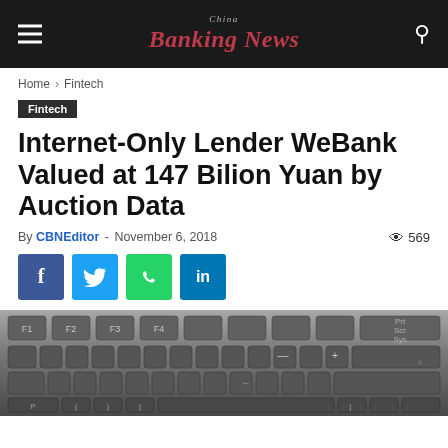China Banking News
Home › Fintech
Fintech
Internet-Only Lender WeBank Valued at 147 Bilion Yuan by Auction Data
By CBNEditor - November 6, 2018 · 569 views
[Figure (screenshot): Social sharing buttons: Facebook, Twitter, WhatsApp, LinkedIn]
[Figure (photo): Close-up photograph of a dark computer keyboard]